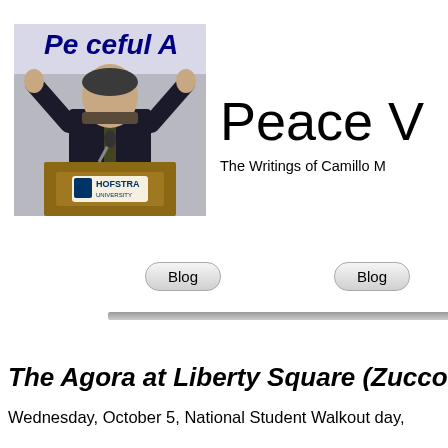[Figure (photo): Man in dark suit speaking at a podium with a microphone, hands raised, in front of a banner reading 'Peaceful A'. A Hofstra University sign/seal is visible on the podium.]
Peace V
The Writings of Camillo M
Blog
Blog
The Agora at Liberty Square (Zuccotti P
Wednesday, October 5, National Student Walkout day,